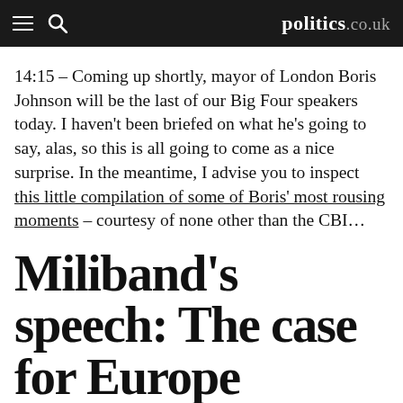politics.co.uk
14:15 – Coming up shortly, mayor of London Boris Johnson will be the last of our Big Four speakers today. I haven't been briefed on what he's going to say, alas, so this is all going to come as a nice surprise. In the meantime, I advise you to inspect this little compilation of some of Boris' most rousing moments – courtesy of none other than the CBI…
Miliband's speech: The case for Europe